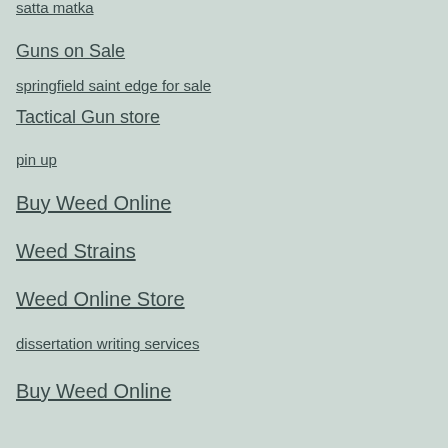satta matka
Guns on Sale
springfield saint edge for sale
Tactical Gun store
pin up
Buy Weed Online
Weed Strains
Weed Online Store
dissertation writing services
Buy Weed Online